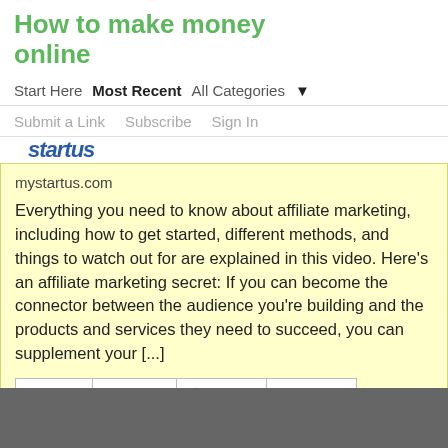How to make money online
Start Here  Most Recent  All Categories ▼
Submit a Link   Subscribe   Sign In
mystartus.com
Everything you need to know about affiliate marketing, including how to get started, different methods, and things to watch out for are explained in this video. Here's an affiliate marketing secret: If you can become the connector between the audience you're building and the products and services they need to succeed, you can supplement your [...]
14  Like  Save  Share
Page 1 of 92  1  2  3  4  5  6  ...  92  Next »